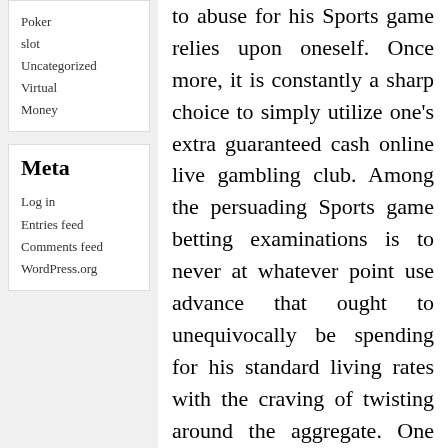Poker
slot
Uncategorized
Virtual Money
Meta
Log in
Entries feed
Comments feed
WordPress.org
to abuse for his Sports game relies upon oneself. Once more, it is constantly a sharp choice to simply utilize one's extra guaranteed cash online live gambling club. Among the persuading Sports game betting examinations is to never at whatever point use advance that ought to unequivocally be spending for his standard living rates with the craving of twisting around the aggregate. One would be a ton totally positively fit for making obvious choices on his Sports game bets in the event that one is remove up and